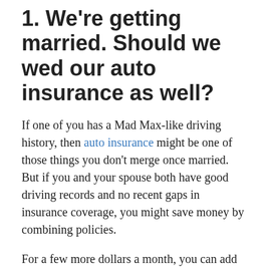1. We're getting married. Should we wed our auto insurance as well?
If one of you has a Mad Max-like driving history, then auto insurance might be one of those things you don't merge once married. But if you and your spouse both have good driving records and no recent gaps in insurance coverage, you might save money by combining policies.
For a few more dollars a month, you can add ERIE Auto Plus, which includes features such as additional days of transportation expense coverage and a vanishing deductible in certain...